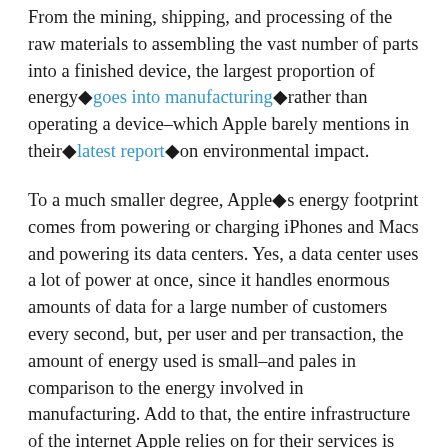From the mining, shipping, and processing of the raw materials to assembling the vast number of parts into a finished device, the largest proportion of energy goes into manufacturing rather than operating a device–which Apple barely mentions in their latest report on environmental impact.
To a much smaller degree, Apple's energy footprint comes from powering or charging iPhones and Macs and powering its data centers. Yes, a data center uses a lot of power at once, since it handles enormous amounts of data for a large number of customers every second, but, per user and per transaction, the amount of energy used is small–and pales in comparison to the energy involved in manufacturing. Add to that, the entire infrastructure of the internet Apple relies on for their services is also overwhelmingly created and run using coal and other fossil fuels, and it becomes clear that Apple's claims about being run on 87 percent renewables is highly misleading.